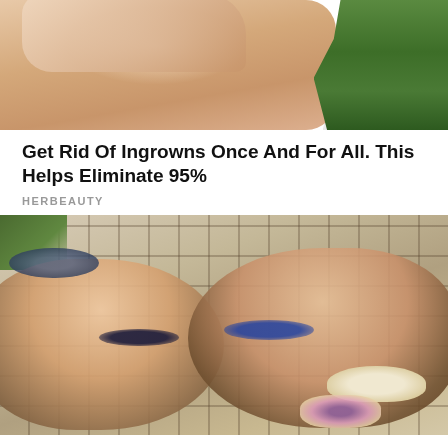[Figure (photo): Close-up photo of a person's legs with skin texture visible, with a hand touching the skin and a green plant in the background]
Get Rid Of Ingrowns Once And For All. This Helps Eliminate 95%
HERBEAUTY
[Figure (photo): Two young women lying on a plaid blanket outdoors, smiling and wearing sunglasses, surrounded by a hat and flowers]